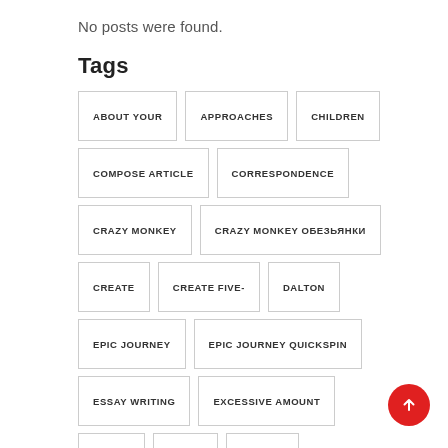No posts were found.
Tags
ABOUT YOUR
APPROACHES
CHILDREN
COMPOSE ARTICLE
CORRESPONDENCE
CRAZY MONKEY
CRAZY MONKEY ОБЕЗЬЯНКИ
CREATE
CREATE FIVE-
DALTON
EPIC JOURNEY
EPIC JOURNEY QUICKSPIN
ESSAY WRITING
EXCESSIVE AMOUNT
FORMS
HAYES
HOW-TO
JOURNEY QUICKSPIN
JOURNEY QUICKSPIN БЕСПЛАТНО
LARGE